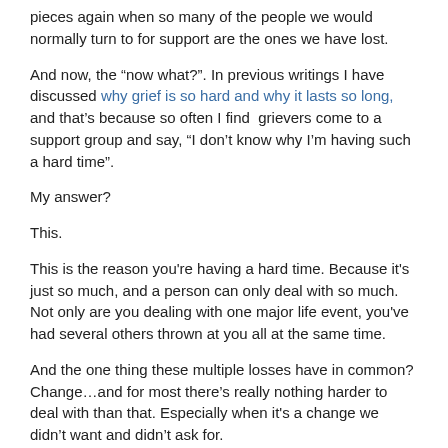pieces again when so many of the people we would normally turn to for support are the ones we have lost.
And now, the “now what?”. In previous writings I have discussed why grief is so hard and why it lasts so long, and that’s because so often I find  grievers come to a support group and say, “I don’t know why I’m having such a hard time”.
My answer?
This.
This is the reason you're having a hard time. Because it's just so much, and a person can only deal with so much. Not only are you dealing with one major life event, you've had several others thrown at you all at the same time.
And the one thing these multiple losses have in common? Change…and for most there’s really nothing harder to deal with than that. Especially when it's a change we didn’t want and didn’t ask for.